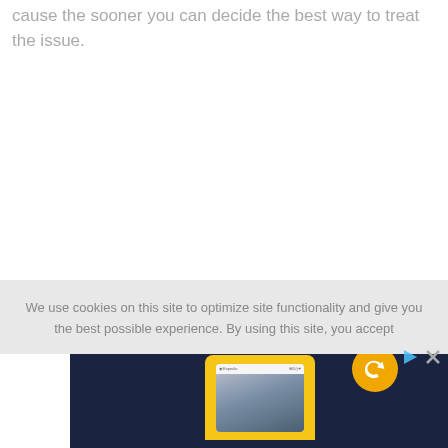cause the sooner you can decide the best way to treat the issue.
We use cookies on this site to optimize site functionality and give you the best possible experience. By using this site, you accept
[Figure (other): Expedia advertisement banner with dark navy background showing a smartphone with yellow frame displaying the Expedia app, with a yellow circular logo containing a plane/compass icon, and ad control buttons (play and close) in top right corner.]